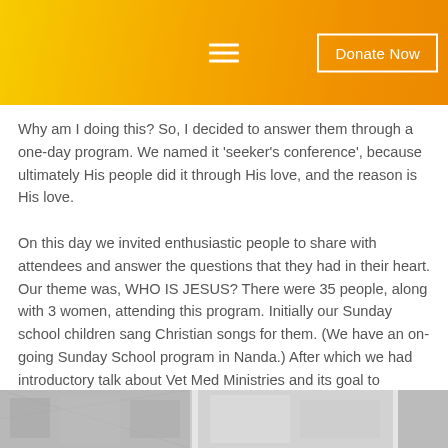Donate Now
Why am I doing this? So, I decided to answer them through a one-day program. We named it 'seeker's conference', because ultimately His people did it through His love, and the reason is His love.
On this day we invited enthusiastic people to share with attendees and answer the questions that they had in their heart. Our theme was, WHO IS JESUS? There were 35 people, along with 3 women, attending this program. Initially our Sunday school children sang Christian songs for them. (We have an on-going Sunday School program in Nanda.) After which we had introductory talk about Vet Med Ministries and its goal to represent Jesus' love to many unreached people.
[Figure (photo): Two photographs at the bottom of the page showing program/event scenes, rendered in grayscale]